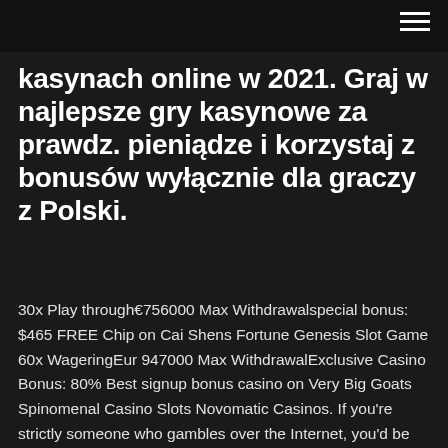kasynach online w 2021. Graj w najlepsze gry kasynowe za prawdz. pieniądze i korzystaj z bonusów wyłącznie dla graczy z Polski.
30x Play through€756000 Max Withdrawalspecial bonus: $465 FREE Chip on Cai Shens Fortune Genesis Slot Game 60x WageringEur 947000 Max WithdrawalExclusive Casino Bonus: 80% Best signup bonus casino on Very Big Goats Spinomenal Casino Slots Novomatic Casinos. If you're strictly someone who gambles over the Internet, you'd be forgiven for either thinking that Novomatic was a small, lightly regarded software developer, or perhaps even for